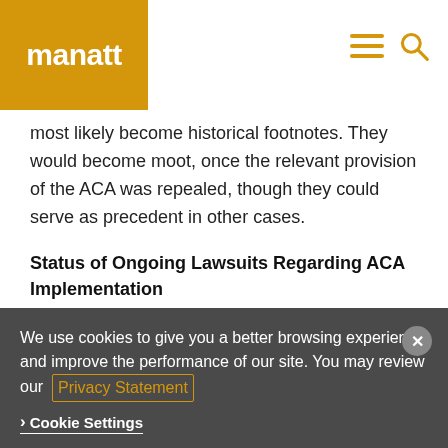manatt
most likely become historical footnotes. They would become moot, once the relevant provision of the ACA was repealed, though they could serve as precedent in other cases.
Status of Ongoing Lawsuits Regarding ACA Implementation
There is a statute under federal law requiring state Medicaid plans to provide networks and payments
We use cookies to give you a better browsing experience and improve the performance of our site. You may review our Privacy Statement
Cookie Settings